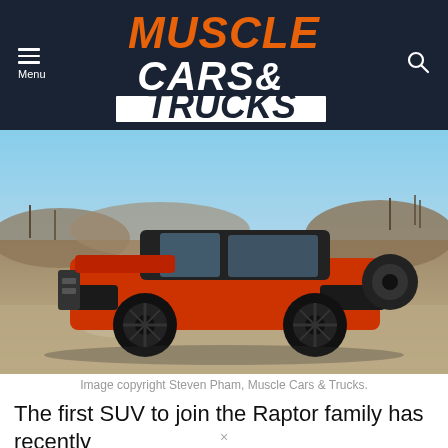Muscle Cars & Trucks — Menu / Search navigation bar
[Figure (photo): Side profile of a red Ford Bronco Raptor SUV parked on rocky/dirt terrain with dry brush and trees in the background, winter landscape]
Image copyright Steven Pham, Muscle Cars & Trucks.
The first SUV to join the Raptor family has recently debuted with the 2023 Ford Bronco Raptor. With 418
×